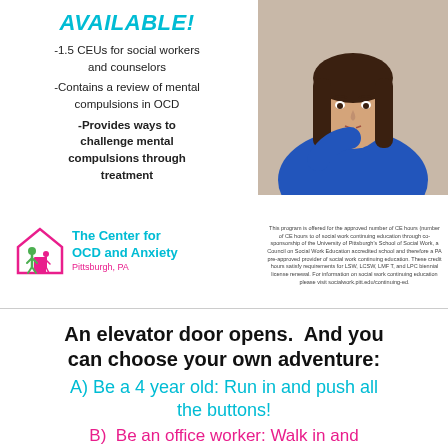AVAILABLE!
-1.5 CEUs for social workers and counselors
-Contains a review of mental compulsions in OCD
-Provides ways to challenge mental compulsions through treatment
[Figure (photo): Woman in blue sweater with finger on chin in thinking pose]
[Figure (logo): The Center for OCD and Anxiety Pittsburgh, PA logo with house icon and figures]
This program is offered for the approved number of CE hours (number of CE hours to of social work continuing education through co-sponsorship of the University of Pittsburgh's School of Social Work, a Council on Social Work Education accredited school and therefore a PA pre-approved provider of social work continuing education. These credit hours satisfy requirements for LSW, LCSW, LMF T, and LPC biennial license renewal. For information on social work continuing education please visit socialwork.pitt.edu/continuing-ed.
An elevator door opens.  And you can choose your own adventure:
A) Be a 4 year old: Run in and push all the buttons!
B)  Be an office worker: Walk in and frown because that 4 year old